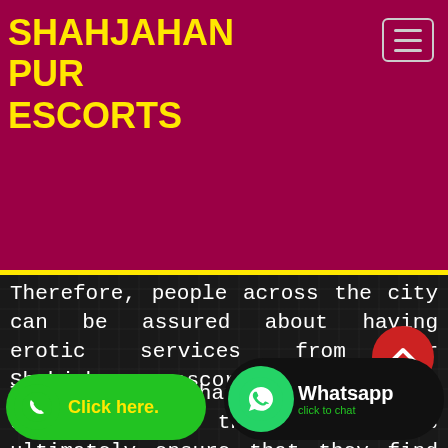SHAHJAHAN PUR ESCORTS
Therefore, people across the city can be assured about having erotic services from our Shahjahanpur escort service.
The Shahjahanpur Escorts understand that clients ultimately ensure that they find the most erotic girl wh... fulfill their desires of ... therefore, we always make attempts